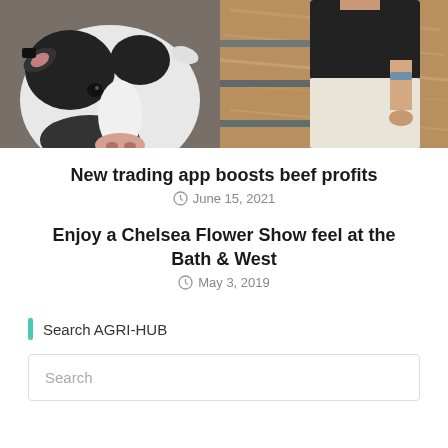[Figure (photo): Photo of a black and white cow looking at camera next to a person in white shorts and dark shirt at a farm pen with straw/hay in background]
New trading app boosts beef profits
June 15, 2021
Enjoy a Chelsea Flower Show feel at the Bath & West
May 3, 2019
Search AGRI-HUB
Search